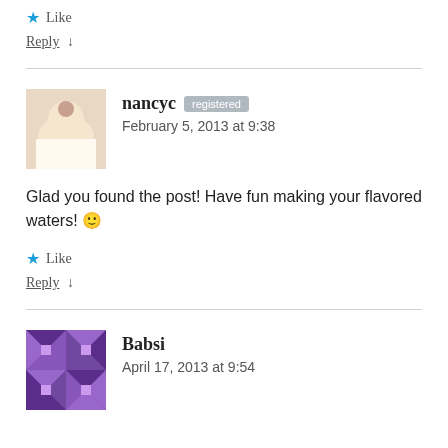★ Like
Reply ↓
nancyc — February 5, 2013 at 9:38
Glad you found the post! Have fun making your flavored waters! 🙂
★ Like
Reply ↓
Babsi — April 17, 2013 at 9:54